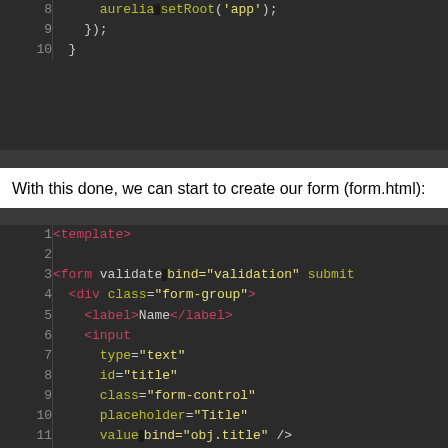[Figure (screenshot): Code editor showing lines 8-10 with JavaScript: aurelia.setRoot('app'); }); }]
With this done, we can start to create our form (form.html):
[Figure (screenshot): Code editor showing HTML template form code lines 1-12]